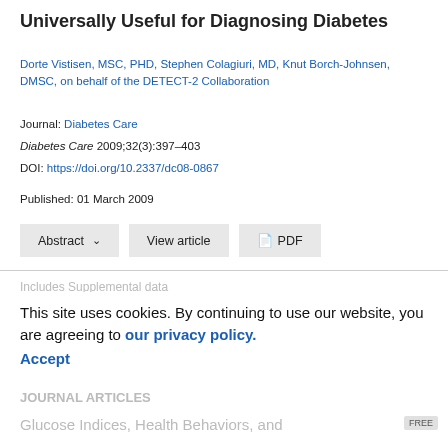Universally Useful for Diagnosing Diabetes
Dorte Vistisen, MSC, PHD, Stephen Colagiuri, MD, Knut Borch-Johnsen, DMSC, on behalf of the DETECT-2 Collaboration
Journal: Diabetes Care
Diabetes Care 2009;32(3):397–403
DOI: https://doi.org/10.2337/dc08-0867
Published: 01 March 2009
Abstract ∨   View article   PDF
Includes Supplemental data
This site uses cookies. By continuing to use our website, you are agreeing to our privacy policy. Accept
JOURNAL ARTICLES
Glucose Indices, Health Behaviors, and